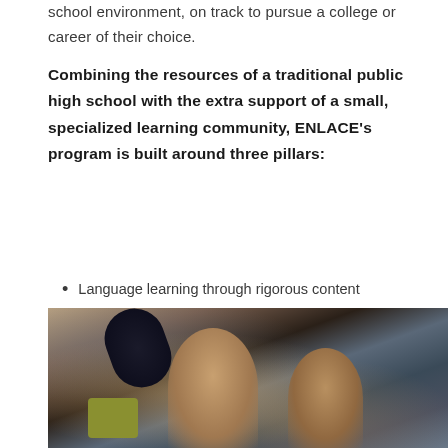school environment, on track to pursue a college or career of their choice.
Combining the resources of a traditional public high school with the extra support of a small, specialized learning community, ENLACE's program is built around three pillars:
Language learning through rigorous content
High expectations plus high supports
A “two-generation” approach
[Figure (photo): Photograph of students and teacher smiling and interacting in a classroom setting]